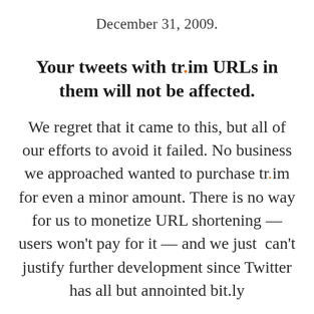December 31, 2009.
Your tweets with tr.im URLs in them will not be affected.
We regret that it came to this, but all of our efforts to avoid it failed. No business we approached wanted to purchase tr.im for even a minor amount. There is no way for us to monetize URL shortening — users won't pay for it — and we just  can't justify further development since Twitter has all but annointed bit.ly